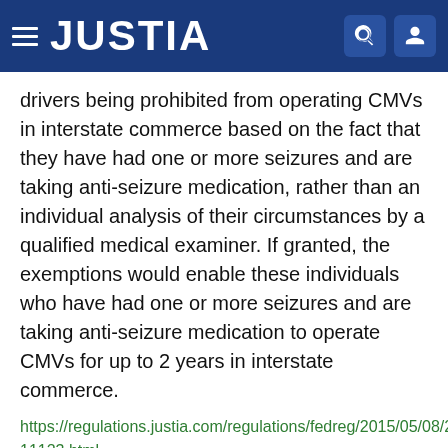JUSTIA
drivers being prohibited from operating CMVs in interstate commerce based on the fact that they have had one or more seizures and are taking anti-seizure medication, rather than an individual analysis of their circumstances by a qualified medical examiner. If granted, the exemptions would enable these individuals who have had one or more seizures and are taking anti-seizure medication to operate CMVs for up to 2 years in interstate commerce.
https://regulations.justia.com/regulations/fedreg/2015/05/08/2015-11123.html
Qualification of Drivers; Application for Exemptions; Hearing
Document Number: 2015-11121
Type: Notice